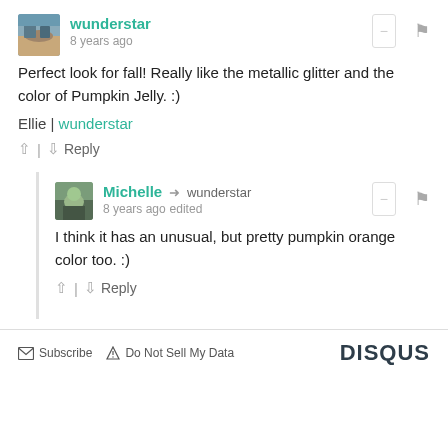[Figure (photo): User avatar for wunderstar - small square photo showing a desert landscape]
wunderstar
8 years ago
Perfect look for fall! Really like the metallic glitter and the color of Pumpkin Jelly. :)
Ellie | wunderstar
↑ | ↓  Reply
[Figure (photo): User avatar for Michelle - small square photo showing a plant/garden scene]
Michelle → wunderstar
8 years ago edited
I think it has an unusual, but pretty pumpkin orange color too. :)
↑ | ↓  Reply
✉ Subscribe   ▲ Do Not Sell My Data   DISQUS